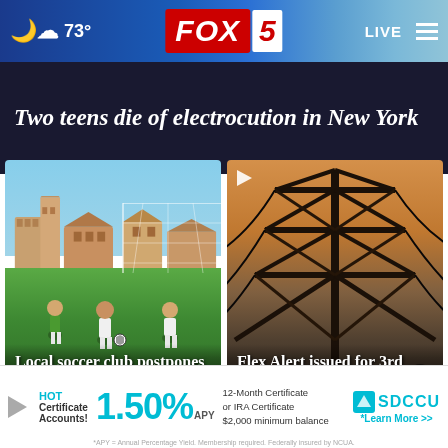73° FOX 5 LIVE
Two teens die of electrocution in New York
[Figure (photo): Local soccer players on a green field with buildings in background]
Local soccer club postpones tournament due to heat
[Figure (photo): Electrical power transmission tower against orange sky]
Flex Alert issued for 3rd consecutive day in SoCal
HOT Certificate Accounts! 1.50% APY 12-Month Certificate or IRA Certificate $2,000 minimum balance SDCCU *Learn More >> *APY = Annual Percentage Yield. Membership required. Federally insured by NCUA.